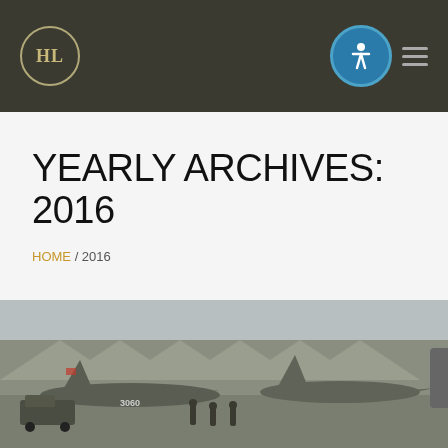Header bar with logo (HL) and accessibility icon
YEARLY ARCHIVES: 2016
HOME / 2016
[Figure (photo): Military fighter jets parked on a tarmac, numbered 3060 visible on one aircraft, personnel and vehicles visible in foreground, hangar structures in background]